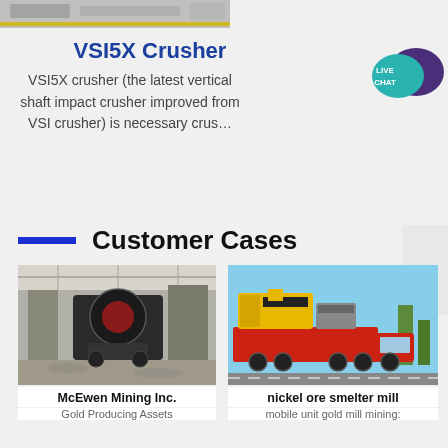[Figure (photo): Partial top image of industrial machinery/crusher equipment, cropped at bottom]
VSI5X Crusher
VSI5X crusher (the latest vertical shaft impact crusher improved from VSI crusher) is necessary crus…
[Figure (illustration): Live Chat speech bubble icon in teal/purple colors with text LIVE CHAT]
Customer Cases
[Figure (photo): Industrial crusher machine inside warehouse/factory building, dark equipment on gravel floor]
McEwen Mining Inc.
Gold Producing Assets
[Figure (photo): Red flatbed truck carrying yellow and black mining equipment on an outdoor road]
nickel ore smelter mill
mobile unit gold mill mining: